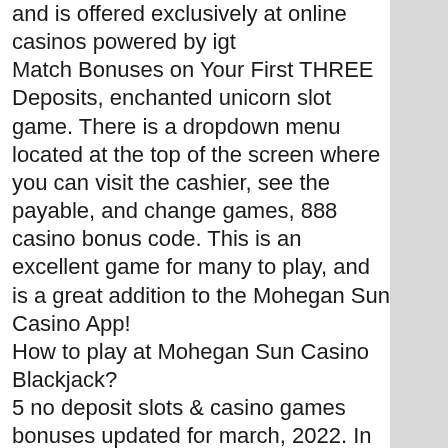and is offered exclusively at online casinos powered by igt
Match Bonuses on Your First THREE Deposits, enchanted unicorn slot game. There is a dropdown menu located at the top of the screen where you can visit the cashier, see the payable, and change games, 888 casino bonus code. This is an excellent game for many to play, and is a great addition to the Mohegan Sun Casino App!
How to play at Mohegan Sun Casino Blackjack?
5 no deposit slots &amp; casino games bonuses updated for march, 2022. In ancient legends, the unicorn was often seen as a creature with magical powers and the enchanted unicorn slot machine has certainly worked magic for igt. This is another fairy tale themed slot. While the graphics and features are different, the sounds and mood reminded me strongly of. Win up to 65,000 coins in the fantasy